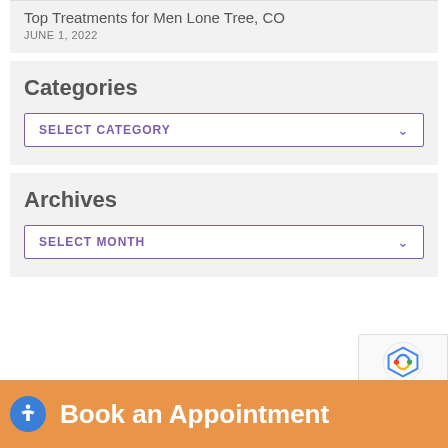Top Treatments for Men Lone Tree, CO
JUNE 1, 2022
Categories
SELECT CATEGORY
Archives
SELECT MONTH
Book an Appointment